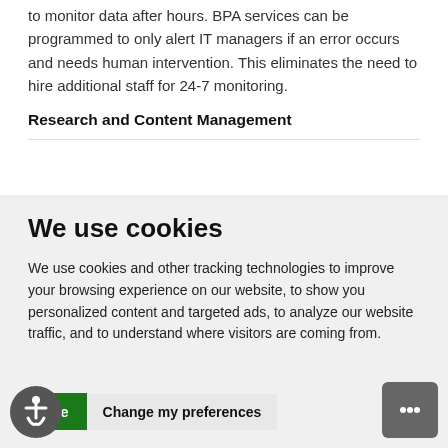to monitor data after hours. BPA services can be programmed to only alert IT managers if an error occurs and needs human intervention. This eliminates the need to hire additional staff for 24-7 monitoring.
Research and Content Management
We use cookies
We use cookies and other tracking technologies to improve your browsing experience on our website, to show you personalized content and targeted ads, to analyze our website traffic, and to understand where visitors are coming from.
[Figure (other): Accessibility icon button (wheelchair symbol) in dark circle]
Agree
Change my preferences
[Figure (other): Chat bubble icon button in dark rounded square]